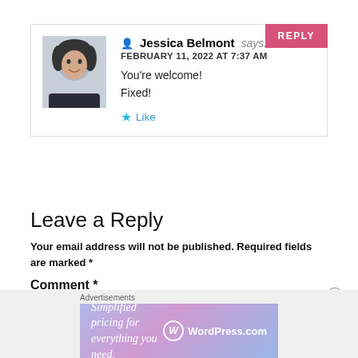REPLY
Jessica Belmont says:
FEBRUARY 11, 2022 AT 7:37 AM
You're welcome!
Fixed!
Like
Leave a Reply
Your email address will not be published. Required fields are marked *
Comment *
[Figure (other): WordPress.com advertisement banner with text 'Simplified pricing for everything you need.']